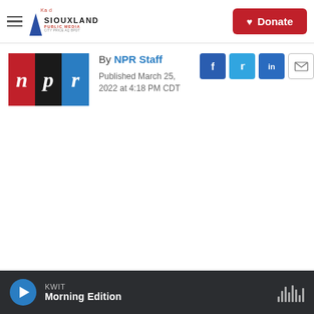Siouxland Public Media | Donate
[Figure (logo): NPR logo with three colored blocks: red 'n', black 'p', blue 'r']
By NPR Staff
Published March 25, 2022 at 4:18 PM CDT
[Figure (infographic): Social share buttons: Facebook, Twitter, LinkedIn, Email]
KWIT Morning Edition (audio player bar)